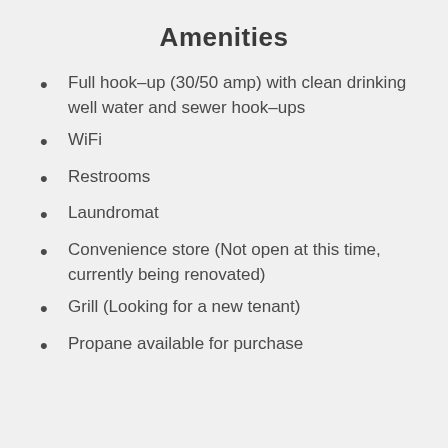Amenities
Full hook-up (30/50 amp) with clean drinking well water and sewer hook-ups
WiFi
Restrooms
Laundromat
Convenience store (Not open at this time, currently being renovated)
Grill (Looking for a new tenant)
Propane available for purchase